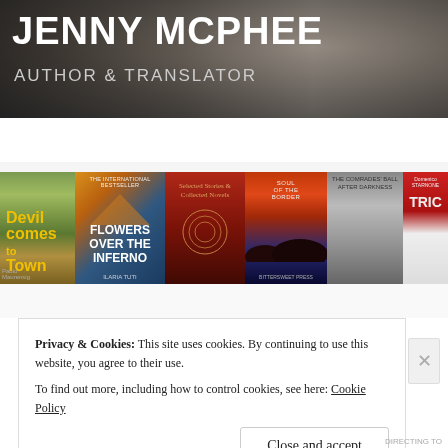JENNY MCPHEE
AUTHOR & TRANSLATOR
≡ Menu
[Figure (illustration): A horizontal strip of book covers: 'Devil Comes to Town' by Paolo Maurensig, 'Flowers Over the Inferno' by Ilaria Tuti, a red cover titled 'Selected Stories & Collected Novels', 'Soul of the Border', a grayscale cover, and 'Trick' by Domenico Starnone]
Privacy & Cookies: This site uses cookies. By continuing to use this website, you agree to their use.
To find out more, including how to control cookies, see here: Cookie Policy
Close and accept